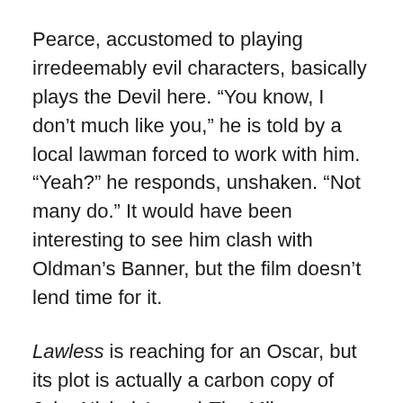Pearce, accustomed to playing irredeemably evil characters, basically plays the Devil here. “You know, I don’t much like you,” he is told by a local lawman forced to work with him. “Yeah?” he responds, unshaken. “Not many do.” It would have been interesting to see him clash with Oldman’s Banner, but the film doesn’t lend time for it.
Lawless is reaching for an Oscar, but its plot is actually a carbon copy of John Nichols’ novel The Milagro Beanfield War (also adapted into a film featuring Christopher Walken), a story about regionalism and also featuring a showdown between simple country folks and federal law enforcement. The main difference is that in Nichols’ story, the main character is defending a beanfield instead of a distillery, and the women are tougher and better respected. Lawless deals with (most of) its own characters well, though, and being one of those derivative